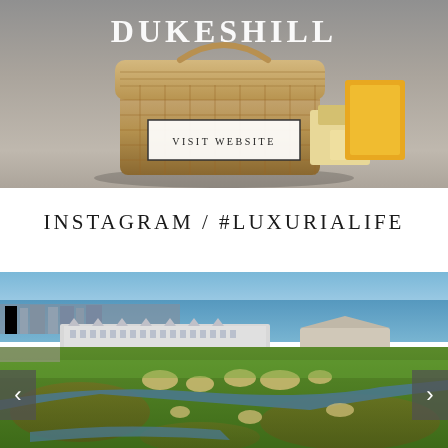[Figure (photo): Top section showing a wicker hamper/basket with cheese products and Dukeshill branding logo overlaid at top, with a 'VISIT WEBSITE' button below]
VISIT WEBSITE
INSTAGRAM / #LUXURIALIFE
[Figure (photo): Aerial photograph of a coastal golf course with a large hotel/resort building, green fairways, bunkers, a water channel, and a coastal town with the sea in the background]